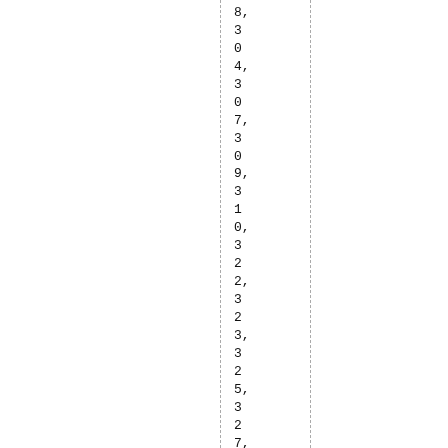8,
3
0
4,
3
0
7,
3
0
9,
3
1
0,
3
2
2,
3
2
3,
3
2
5,
3
2
7,
3
4
3,
3
5